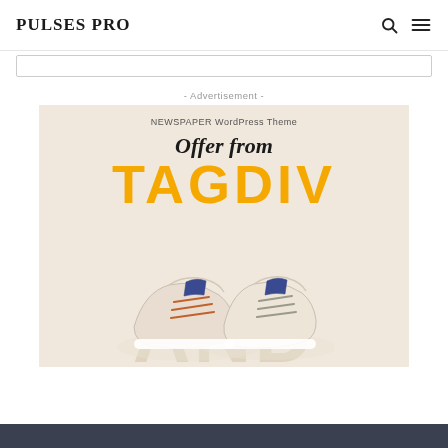PULSES PRO
- Advertisement -
[Figure (illustration): Advertisement banner for NEWSPAPER WordPress Theme by TAGDIV, showing two cream/beige sneakers with orange laces on a light beige background with large text TAGDIV and cursive 'Offer from']